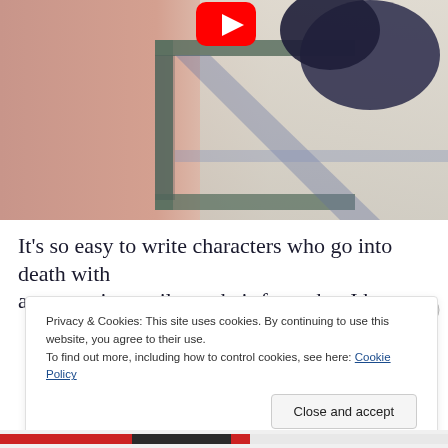[Figure (photo): Screenshot of a web page showing a YouTube video thumbnail. The image shows a painting or illustration of what appears to be a window frame with shadows, muted pinkish and grey tones, with a dark silhouetted hand or shape in the upper right. A YouTube play button icon is visible at the top.]
It's so easy to write characters who go into death with an accepting smile on their faces, but I have to
Privacy & Cookies: This site uses cookies. By continuing to use this website, you agree to their use.
To find out more, including how to control cookies, see here: Cookie Policy
Close and accept